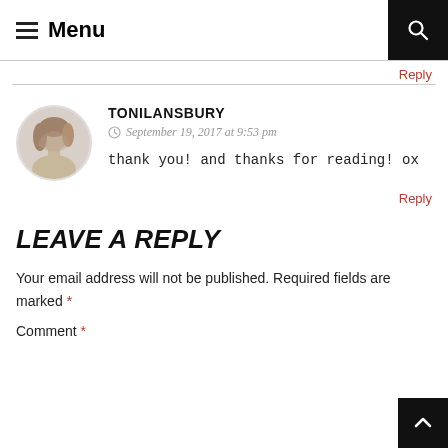Menu
Reply
TONILANSBURY
September 19, 2017 at 9:53 pm
thank you! and thanks for reading! ox
Reply
LEAVE A REPLY
Your email address will not be published. Required fields are marked *
Comment *